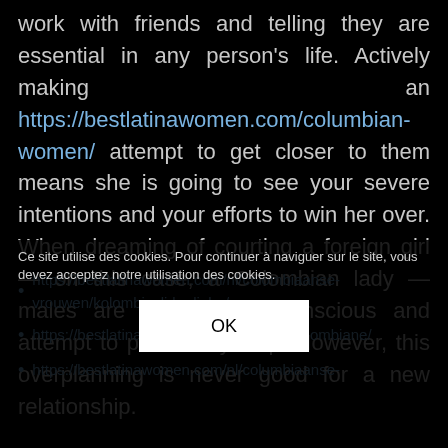work with friends and telling they are essential in any person's life. Actively making an https://bestlatinawomen.com/columbian-women/ attempt to get closer to them means she is going to see your severe intentions and your efforts to win her over. When dreaming of courting a foreign girl — on this case, a Colombian lady — males are typically self-conscious and attempt to plan every step. However, this overplanning is never good for a new relationship.
Ce site utilise des cookies. Pour continuer à naviguer sur le site, vous devez acceptez notre utilisation des cookies.
https://bestlatinawomen.com/nl/colombiaanse-vrouwen/kolombiyali-kadinlar/
https://bestlatinawomen.com/fr/femme-colombiane/
https://bestlatinawomen.com/nl/columbiaanse-